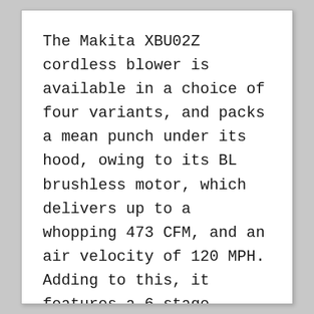The Makita XBU02Z cordless blower is available in a choice of four variants, and packs a mean punch under its hood, owing to its BL brushless motor, which delivers up to a whopping 473 CFM, and an air velocity of 120 MPH. Adding to this, it features a 6-stage volume selection dial complete with a variable speed control trigger, and a sound pressure rating of 60.2 dB(A).
The Makita XBU02Z cordless blower